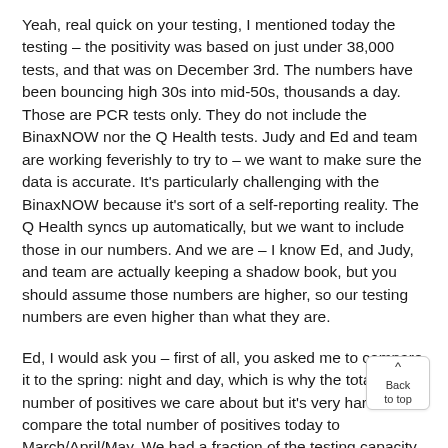Yeah, real quick on your testing, I mentioned today the testing – the positivity was based on just under 38,000 tests, and that was on December 3rd. The numbers have been bouncing high 30s into mid-50s, thousands a day. Those are PCR tests only. They do not include the BinaxNOW nor the Q Health tests. Judy and Ed and team are working feverishly to try to – we want to make sure the data is accurate. It's particularly challenging with the BinaxNOW because it's sort of a self-reporting reality. The Q Health syncs up automatically, but we want to include those in our numbers. And we are – I know Ed, and Judy, and team are actually keeping a shadow book, but you should assume those numbers are higher, so our testing numbers are even higher than what they are.
Ed, I would ask you – first of all, you asked me to compare it to the spring: night and day, which is why the total number of positives we care about but it's very hard to compare the total number of positives today to March/April/May. We had a fraction of the testing capacity then. Spot positivities were through the roof, 50-something percent at one point, a very small – like all of America, very small capacity then, a very big capacity now. The numbers that – the hard numbers are the ones that really do matter and that's the folks who are getting admitted to hospitals, who are in hospitals that are getting discharged, please God, in intensive care on ventilators.